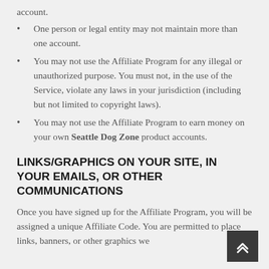account.
One person or legal entity may not maintain more than one account.
You may not use the Affiliate Program for any illegal or unauthorized purpose. You must not, in the use of the Service, violate any laws in your jurisdiction (including but not limited to copyright laws).
You may not use the Affiliate Program to earn money on your own Seattle Dog Zone product accounts.
LINKS/GRAPHICS ON YOUR SITE, IN YOUR EMAILS, OR OTHER COMMUNICATIONS
Once you have signed up for the Affiliate Program, you will be assigned a unique Affiliate Code. You are permitted to place links, banners, or other graphics we